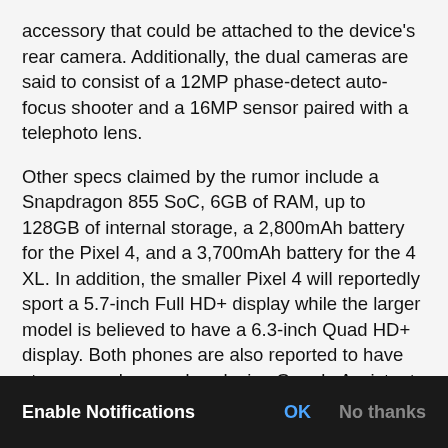accessory that could be attached to the device's rear camera. Additionally, the dual cameras are said to consist of a 12MP phase-detect auto-focus shooter and a 16MP sensor paired with a telephoto lens.
Other specs claimed by the rumor include a Snapdragon 855 SoC, 6GB of RAM, up to 128GB of internal storage, a 2,800mAh battery for the Pixel 4, and a 3,700mAh battery for the 4 XL. In addition, the smaller Pixel 4 will reportedly sport a 5.7-inch Full HD+ display while the larger model is believed to have a 6.3-inch Quad HD+ display. Both phones are also reported to have stereo speakers and exclusive Google Assistant features.
These details remain conjecture for now, although [Enable Notifications overlay] e phones h will work to detect the movement of your hands in order to “skip